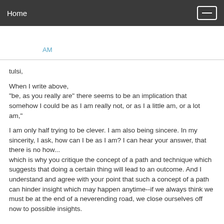Home
AM
tulsi,
When I write above,
"be, as you really are" there seems to be an implication that somehow I could be as I am really not, or as I a little am, or a lot am,"
I am only half trying to be clever. I am also being sincere. In my sincerity, I ask, how can I be as I am? I can hear your answer, that there is no how...
which is why you critique the concept of a path and technique which suggests that doing a certain thing will lead to an outcome. And I understand and agree with your point that such a concept of a path can hinder insight which may happen anytime--if we always think we must be at the end of a neverending road, we close ourselves off now to possible insights.